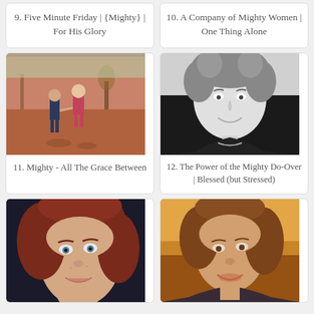[Figure (photo): Card 9: Five Minute Friday - Mighty - For His Glory (top partially cropped image)]
9. Five Minute Friday | {Mighty} | For His Glory
[Figure (photo): Card 10: A Company of Mighty Women - One Thing Alone (top partially cropped image)]
10. A Company of Mighty Women | One Thing Alone
[Figure (photo): Two children holding hands walking on a reddish path outdoors]
11. Mighty - All The Grace Between
[Figure (photo): Black and white portrait of a smiling woman with curly hair]
12. The Power of the Mighty Do-Over | Blessed (but Stressed)
[Figure (photo): Close-up portrait of a young woman with red hair and blue eyes smiling]
[Figure (photo): Portrait of a smiling woman with brown hair on an orange/yellow background]